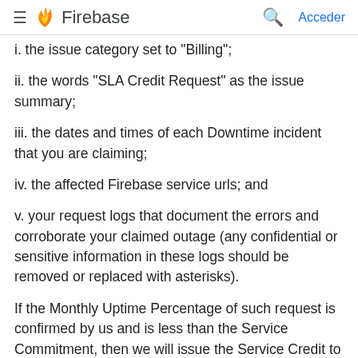Firebase — Acceder
i. the issue category set to "Billing";
ii. the words "SLA Credit Request" as the issue summary;
iii. the dates and times of each Downtime incident that you are claiming;
iv. the affected Firebase service urls; and
v. your request logs that document the errors and corroborate your claimed outage (any confidential or sensitive information in these logs should be removed or replaced with asterisks).
If the Monthly Uptime Percentage of such request is confirmed by us and is less than the Service Commitment, then we will issue the Service Credit to you within one billing cycle following the month in which your request is confirmed by us. Your failure to provide the request and